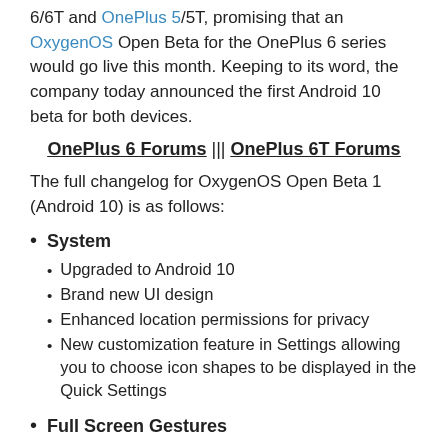6/6T and OnePlus 5/5T, promising that an OxygenOS Open Beta for the OnePlus 6 series would go live this month. Keeping to its word, the company today announced the first Android 10 beta for both devices.
OnePlus 6 Forums ||| OnePlus 6T Forums
The full changelog for OxygenOS Open Beta 1 (Android 10) is as follows:
System
Upgraded to Android 10
Brand new UI design
Enhanced location permissions for privacy
New customization feature in Settings allowing you to choose icon shapes to be displayed in the Quick Settings
Full Screen Gestures
Added inward swipes from the left or right edge of the screen to go back